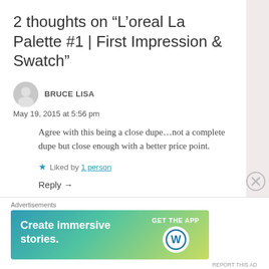2 thoughts on “L’oreal La Palette #1 | First Impression & Swatch”
BRUCE LISA
May 19, 2015 at 5:56 pm
Agree with this being a close dupe…not a complete dupe but close enough with a better price point.
Liked by 1 person
Reply →
Advertisements
[Figure (illustration): WordPress advertisement banner: gradient background from teal to yellow-green, white text 'Create immersive stories.' on left, 'GET THE APP' with WordPress logo on right]